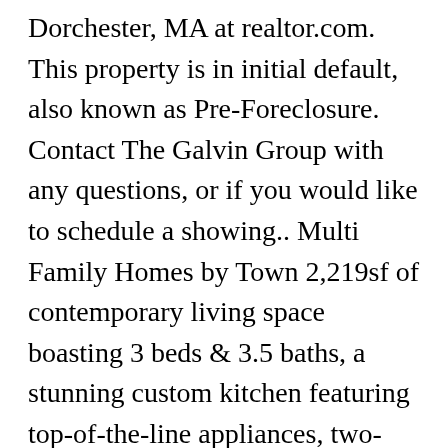Dorchester, MA at realtor.com. This property is in initial default, also known as Pre-Foreclosure. Contact The Galvin Group with any questions, or if you would like to schedule a showing.. Multi Family Homes by Town 2,219sf of contemporary living space boasting 3 beds & 3.5 baths, a stunning custom kitchen featuring top-of-the-line appliances, two-toned flat paneled cabinetry, seamless Calacatta countertops, & an oversized waterfall island which overlooks the open concept living & dining area w/ a fireplace. Learn more about Dorchester >> View Multi Family Homes in Dorchester MA Parking for 3 cars behind the building. Spacious and sturdily built, these stately